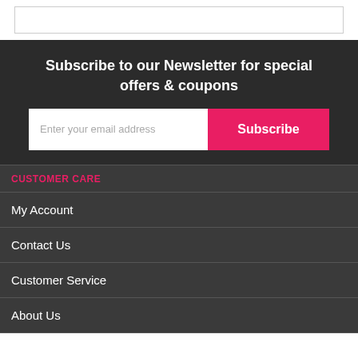Subscribe to our Newsletter for special offers & coupons
Enter your email address
Subscribe
CUSTOMER CARE
My Account
Contact Us
Customer Service
About Us